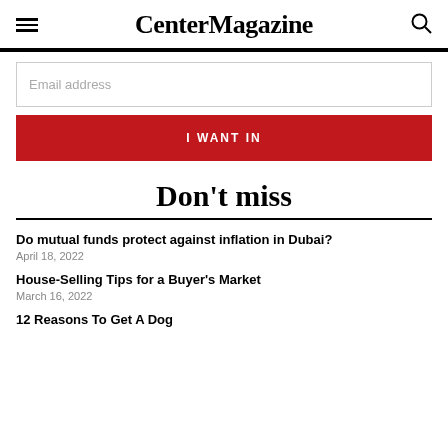CenterMagazine
Email address
I WANT IN
Don't miss
Do mutual funds protect against inflation in Dubai?
April 18, 2022
House-Selling Tips for a Buyer's Market
March 16, 2022
12 Reasons To Get A Dog